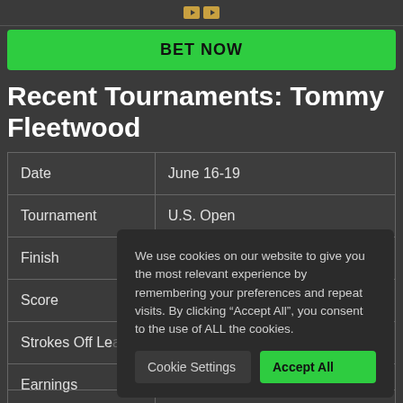[Figure (logo): Sports betting logo icon at top]
BET NOW
Recent Tournaments: Tommy Fleetwood
| Date | June 16-19 |
| Tournament | U.S. Open |
| Finish |  |
| Score |  |
| Strokes Off Lead |  |
| Earnings |  |
We use cookies on our website to give you the most relevant experience by remembering your preferences and repeat visits. By clicking “Accept All”, you consent to the use of ALL the cookies.
Cookie Settings
Accept All